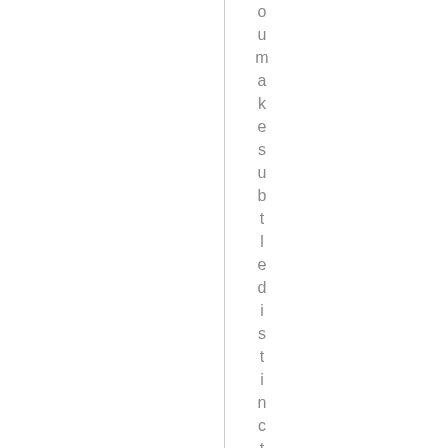o u m a k e s u b t l e d i s t i n c t i o n s a